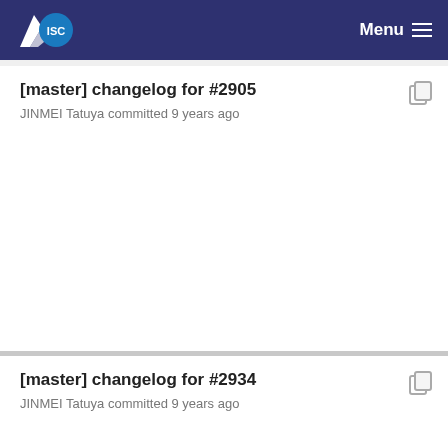ISC Menu
[master] changelog for #2905
JINMEI Tatuya committed 9 years ago
[master] changelog for #2934
JINMEI Tatuya committed 9 years ago
[master] Added ChangeLog entry for #2902.
Marcin Siodelski committed 9 years ago